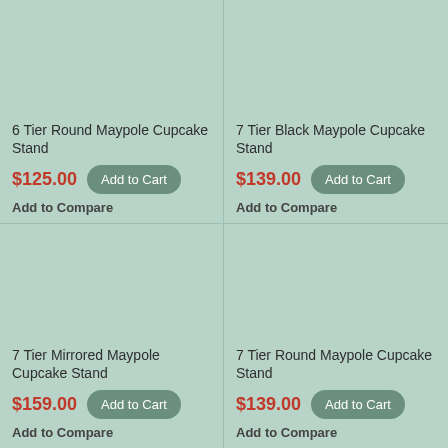[Figure (photo): Product image area for 6 Tier Round Maypole Cupcake Stand, teal background]
6 Tier Round Maypole Cupcake Stand
$125.00
Add to Cart
Add to Compare
[Figure (photo): Product image area for 7 Tier Black Maypole Cupcake Stand, teal background]
7 Tier Black Maypole Cupcake Stand
$139.00
Add to Cart
Add to Compare
[Figure (photo): Product image area for 7 Tier Mirrored Maypole Cupcake Stand, teal background]
7 Tier Mirrored Maypole Cupcake Stand
$159.00
Add to Cart
Add to Compare
[Figure (photo): Product image area for 7 Tier Round Maypole Cupcake Stand, teal background]
7 Tier Round Maypole Cupcake Stand
$139.00
Add to Cart
Add to Compare